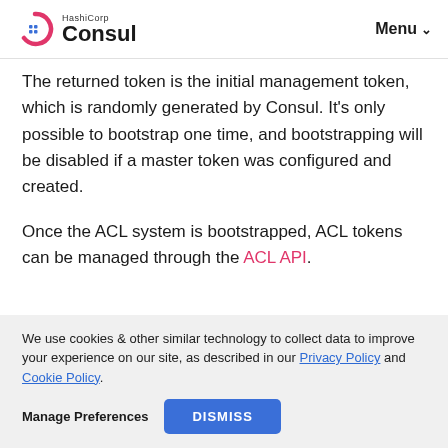HashiCorp Consul  Menu
The returned token is the initial management token, which is randomly generated by Consul. It's only possible to bootstrap one time, and bootstrapping will be disabled if a master token was configured and created.

Once the ACL system is bootstrapped, ACL tokens can be managed through the ACL API.
We use cookies & other similar technology to collect data to improve your experience on our site, as described in our Privacy Policy and Cookie Policy.
Manage Preferences  DISMISS